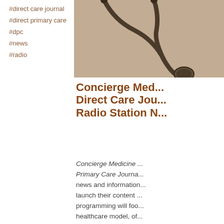#direct care journal
#direct primary care
#dpc
#news
#radio
[Figure (photo): Close-up photo of a medical stethoscope on a light beige/tan background]
Concierge Med... Direct Care Jou... Radio Station N...
Concierge Medicine ... Primary Care Journa... news and information... launch their content ... programming will foo... healthcare model, of... information. Listener... the opinions of peop... hear expert commen...